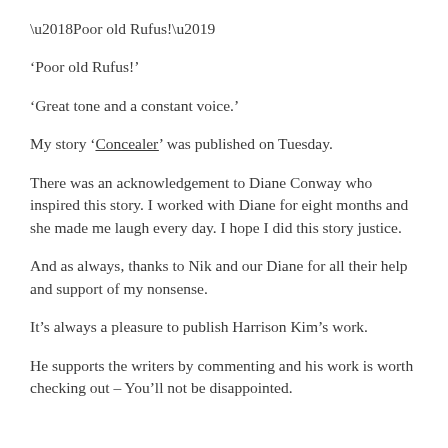‘Poor old Rufus!’
‘Great tone and a constant voice.’
My story ‘Concealer’ was published on Tuesday.
There was an acknowledgement to Diane Conway who inspired this story. I worked with Diane for eight months and she made me laugh every day. I hope I did this story justice.
And as always, thanks to Nik and our Diane for all their help and support of my nonsense.
It’s always a pleasure to publish Harrison Kim’s work.
He supports the writers by commenting and his work is worth checking out – You’ll not be disappointed.